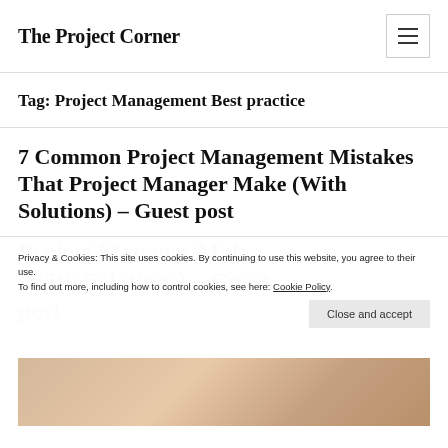The Project Corner
Tag: Project Management Best practice
7 Common Project Management Mistakes That Project Manager Make (With Solutions) – Guest post
Privacy & Cookies: This site uses cookies. By continuing to use this website, you agree to their use. To find out more, including how to control cookies, see here: Cookie Policy.
Close and accept
[Figure (photo): Partial image of hands on a wooden desk, appears to be working on documents or a project, partially visible at bottom of page.]